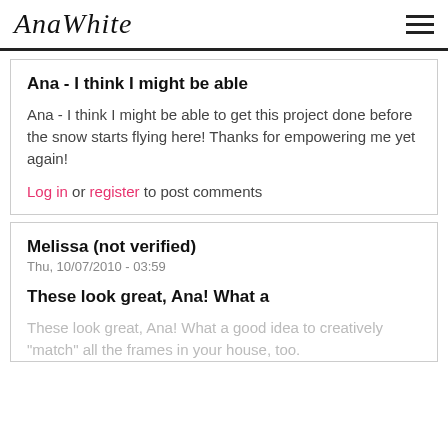AnaWhite
Ana - I think I might be able
Ana - I think I might be able to get this project done before the snow starts flying here! Thanks for empowering me yet again!
Log in or register to post comments
Melissa (not verified)
Thu, 10/07/2010 - 03:59
These look great, Ana! What a
These look great, Ana! What a good idea to creatively "match" all the frames in your house, too.